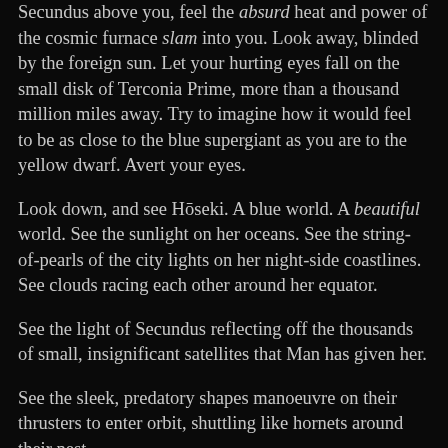Secundus above you, feel the absurd heat and power of the cosmic furnace slam into you. Look away, blinded by the foreign sun. Let your hurting eyes fall on the small disk of Terconia Prime, more than a thousand million miles away. Try to imagine how it would feel to be as close to the blue supergiant as you are to the yellow dwarf. Avert your eyes.
Look down, and see Hōseki. A blue world. A beautiful world. See the sunlight on her oceans. See the string-of-pearls of the city lights on her night-side coastlines. See clouds racing each other around her equator.
See the light of Secundus reflecting off the thousands of small, insignificant satellites that Man has given her.
See the sleek, predatory shapes manoeuvre on their thrusters to enter orbit, shuttling like hornets around their nest.
War has come to beautiful Terconia.